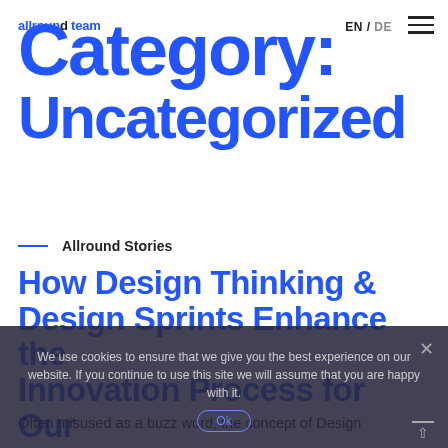allroundteam  EN / DE  ☰
Category: Uncategorized
— Allround Stories
How Design Thinking & Design Sprints Enhance the Innovation Process for Our Clients
We use cookies to ensure that we give you the best experience on our website. If you continue to use this site we will assume that you are happy with it.
Often misused as a buzz word, the concept of Design